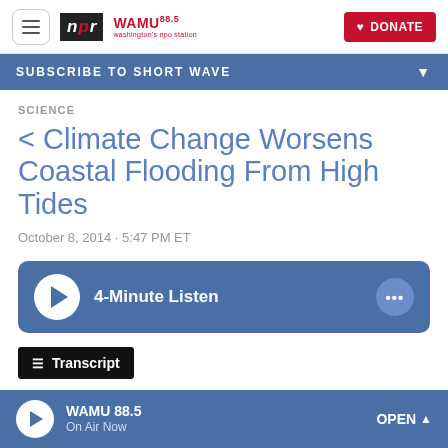NPR / WAMU 88.5 | DONATE
SUBSCRIBE TO SHORT WAVE
SCIENCE
< Climate Change Worsens Coastal Flooding From High Tides
October 8, 2014 · 5:47 PM ET
4-Minute Listen
Transcript
WAMU 88.5 · On Air Now · OPEN